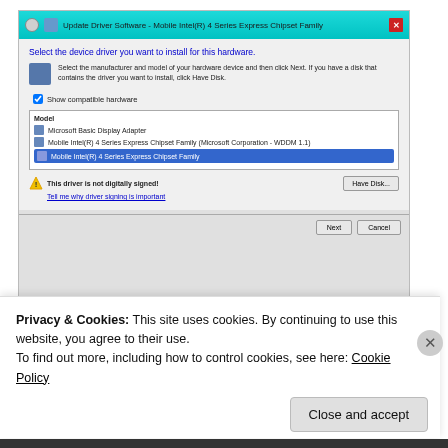[Figure (screenshot): Windows Update Driver Software dialog for Mobile Intel(R) 4 Series Express Chipset Family, showing model selection list with 'Mobile Intel(R) 4 Series Express Chipset Family' highlighted, a warning that the driver is not digitally signed, Have Disk button, Next and Cancel buttons.]
Privacy & Cookies: This site uses cookies. By continuing to use this website, you agree to their use.
To find out more, including how to control cookies, see here: Cookie Policy